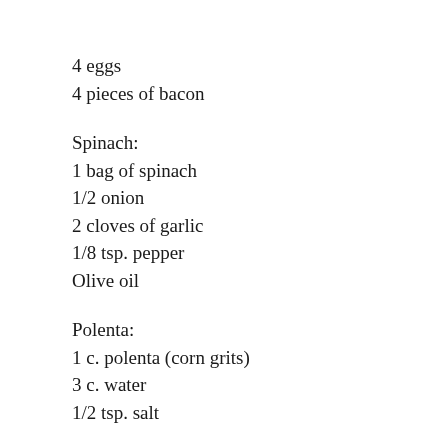4 eggs
4 pieces of bacon
Spinach:
1 bag of spinach
1/2 onion
2 cloves of garlic
1/8 tsp. pepper
Olive oil
Polenta:
1 c. polenta (corn grits)
3 c. water
1/2 tsp. salt